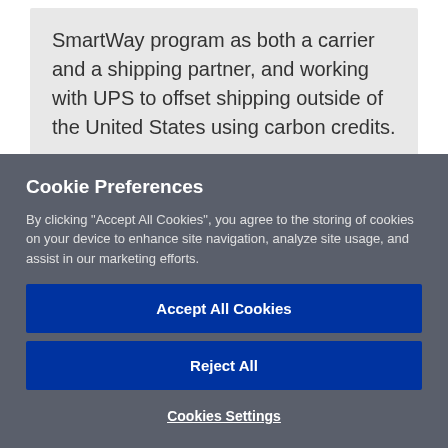SmartWay program as both a carrier and a shipping partner, and working with UPS to offset shipping outside of the United States using carbon credits.
The company is also committed to
Cookie Preferences
By clicking "Accept All Cookies", you agree to the storing of cookies on your device to enhance site navigation, analyze site usage, and assist in our marketing efforts.
Accept All Cookies
Reject All
Cookies Settings